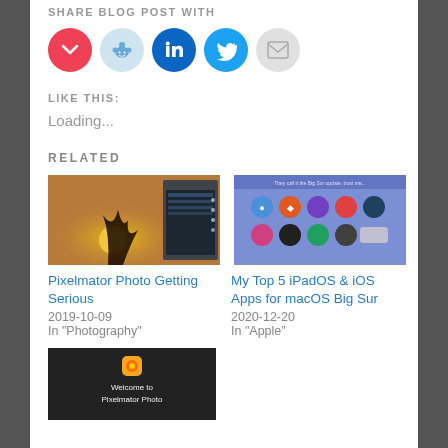SHARE BLOG POST WITH
[Figure (infographic): Five social sharing icon circles: Pocket (red), Reddit (light blue), LinkedIn (dark blue), Twitter (blue), Email (grey)]
LIKE THIS:
Loading...
RELATED
[Figure (photo): Pixelmator Photo app interface showing a sunset/silhouette photo with editing panel on the right]
[Figure (screenshot): App grid screenshot showing iPadOS/iOS app icons on a blue/purple background — macOS Big Sur related]
Pixelmator Photo Getting Serious
2019-10-09
In "Photography"
My Top 5 iPadOS & iOS Apps for macOS Big Sur
2020-12-20
In "Apple"
[Figure (screenshot): Dark background with Pixelmator Photo app icon and text: Welcome to Pixelmator Photo]